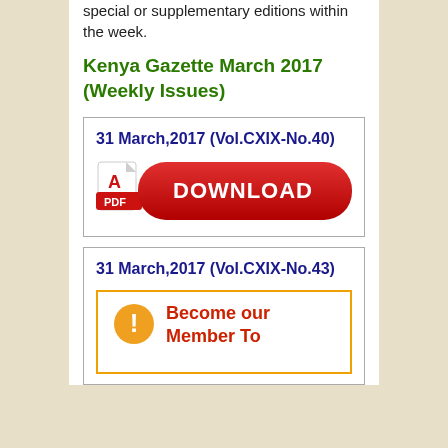special or supplementary editions within the week.
Kenya Gazette March 2017 (Weekly Issues)
31 March,2017 (Vol.CXIX-No.40)
[Figure (other): PDF Download button with Adobe PDF icon on left and red rounded rectangle button reading DOWNLOAD]
31 March,2017 (Vol.CXIX-No.43)
[Figure (other): Become our Member To - orange bordered box with alert icon and red bold text]